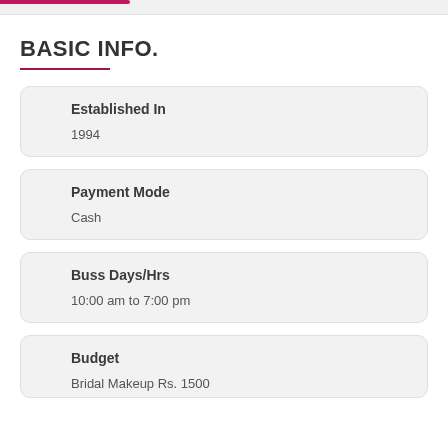BASIC INFO.
Established In
1994
Payment Mode
Cash
Buss Days/Hrs
10:00 am to 7:00 pm
Budget
Bridal Makeup Rs. 1500